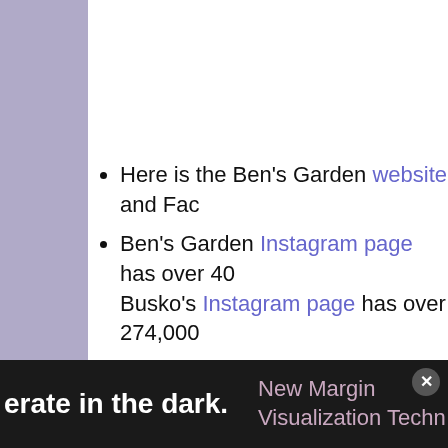Here is the Ben's Garden website and Fac[ebook page]
Ben's Garden Instagram page has over 4[00,000 followers. Ben] Busko's Instagram page has over 274,000[followers]
Ben's Garden has four store locations liste[d in] New York (1 in Manhattan, 2 on Long Isla[nd])
The Yelp reviews for Ben's Garden are no[tably positive] about the experience of custom orders. T[he location is] marked as closed on Yelp. (Location 1, L[ocation 2])
[operate] in the dark. New Margin Visualization Techn[ology]